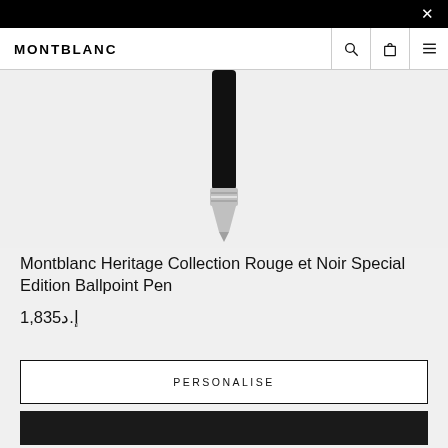Montblanc navigation bar with logo, search, bag, and menu icons
[Figure (photo): Close-up product photo of the tip of a Montblanc Heritage Collection Rouge et Noir Special Edition Ballpoint Pen — black body with silver metallic tip, shown on a light grey background]
Montblanc Heritage Collection Rouge et Noir Special Edition Ballpoint Pen
إ.د1,835